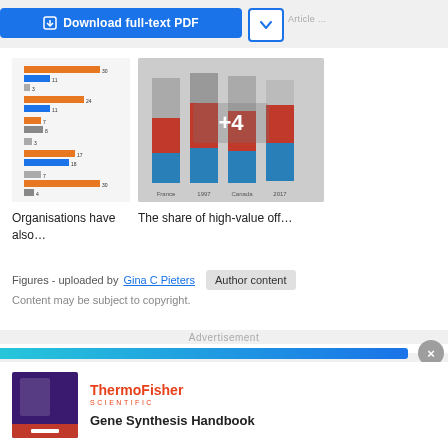[Figure (screenshot): Download full-text PDF button in blue and a dropdown arrow button with blue border]
[Figure (bar-chart): Horizontal bar chart thumbnail with orange and blue/grey bars showing various values]
[Figure (stacked-bar-chart): Stacked bar chart thumbnail showing blue and red segments across multiple bars, with +4 overlay indicator]
Organisations have also…
The share of high-value off…
Figures - uploaded by Gina C Pieters
Content may be subject to copyright.
Advertisement
[Figure (infographic): ThermoFisher Scientific advertisement with purple background image and Gene Synthesis Handbook text]